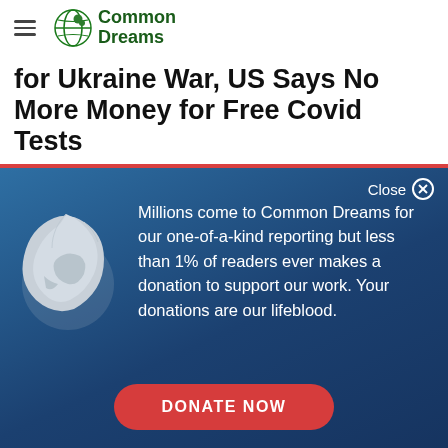Common Dreams
for Ukraine War, US Says No More Money for Free Covid Tests
"Well this is quite exactly the wrong thing to do going
[Figure (screenshot): Common Dreams donation overlay popup with globe icon, text about readers and donations, and a red DONATE NOW button on a dark blue gradient background with a Close button.]
Millions come to Common Dreams for our one-of-a-kind reporting but less than 1% of readers ever makes a donation to support our work. Your donations are our lifeblood.
DONATE NOW